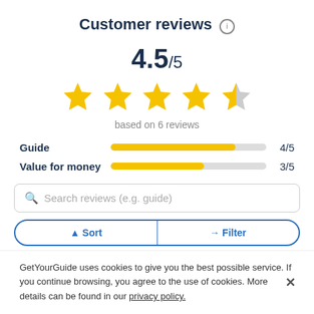Customer reviews
4.5/5
[Figure (other): Five-star rating display showing 4.5 out of 5 stars — four full gold stars and one half gold/gray star]
based on 6 reviews
[Figure (bar-chart): Category ratings]
Search reviews (e.g. guide)
Sort | Filter
GetYourGuide uses cookies to give you the best possible service. If you continue browsing, you agree to the use of cookies. More details can be found in our privacy policy.